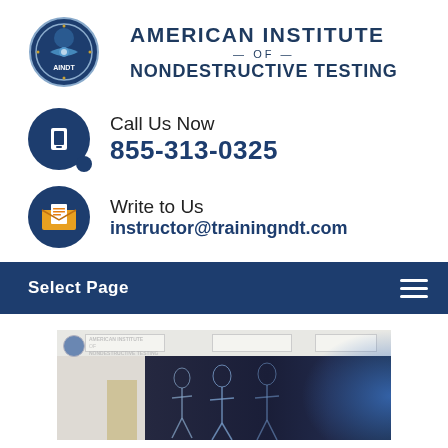[Figure (logo): American Institute of Nondestructive Testing circular seal logo with AINDT text, next to organization name in dark blue uppercase letters]
Call Us Now
855-313-0325
Write to Us
instructor@trainingndt.com
Select Page
[Figure (photo): Interior of AINDT training facility showing ceiling lights, white wall, dark mural with X-ray/NDT themed artwork and blue glow on right side. AINDT logo visible in upper left corner of photo.]